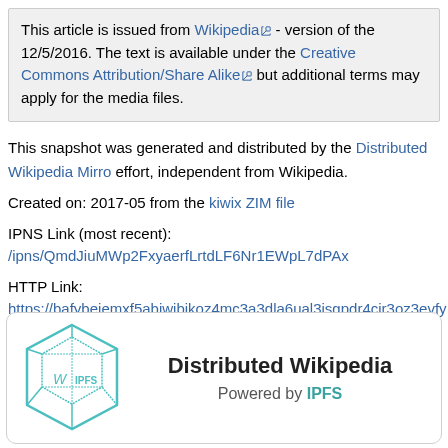This article is issued from Wikipedia - version of the 12/5/2016. The text is available under the Creative Commons Attribution/Share Alike but additional terms may apply for the media files.
This snapshot was generated and distributed by the Distributed Wikipedia Mirro effort, independent from Wikipedia.
Created on: 2017-05 from the kiwix ZIM file
IPNS Link (most recent): /ipns/QmdJiuMWp2FxyaerfLrtdLF6Nr1EWpL7dPAx
HTTP Link: https://bafybeiemxf5abjwjbikoz4mc3a3dla6ual3jsgpdr4cjr3oz3evfy day_Adventist_Church.html
Download IPFS Here
[Figure (logo): Distributed Wikipedia powered by IPFS logo card with hexagonal cube icon]